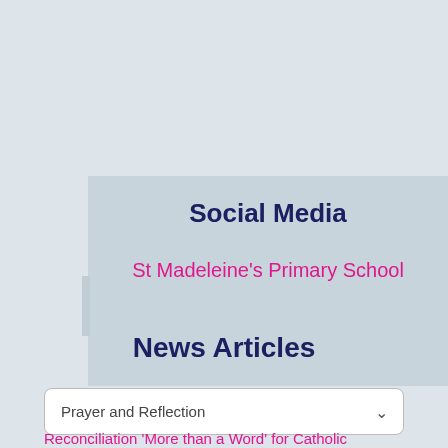Social Media
St Madeleine's Primary School
News Articles
Prayer and Reflection
Reconciliation 'More than a Word' for Catholic